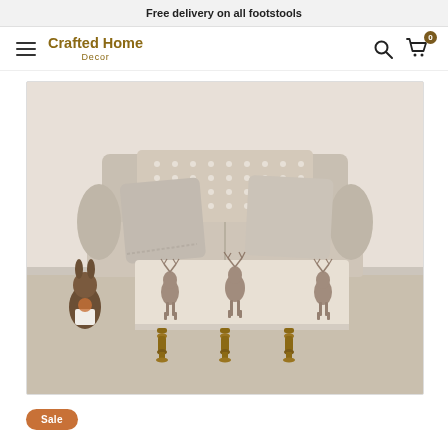Free delivery on all footstools
[Figure (logo): Crafted Home Decor logo with hamburger menu, search icon, and cart icon showing 0 items]
[Figure (photo): A beige/cream fabric sofa with polka dot cushions, and a rectangular footstool upholstered in a stag/deer print fabric with wooden turned legs. A decorative brown rabbit figurine is beside the sofa on a beige carpet.]